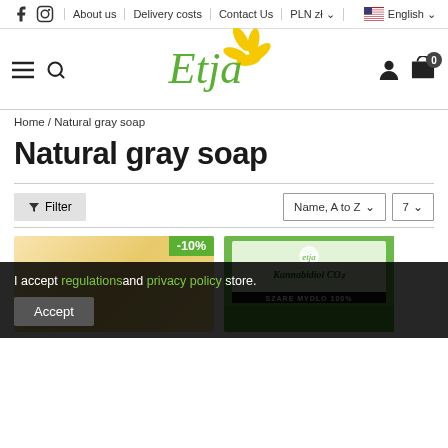About us | Delivery costs | Contact Us | PLN zł | English
[Figure (logo): Etja store logo — stylized green cursive 'Etja' text with yellow daisy flower accent]
Home / Natural gray soap
Natural gray soap
Filter | Name, A to Z | 7
I accept regulations and privacy policy store.
Accept
[Figure (photo): Product image: Kannabidiol CO2 SZARE MYDŁO 100% box with green cannabis leaf design, -10% discount badge]